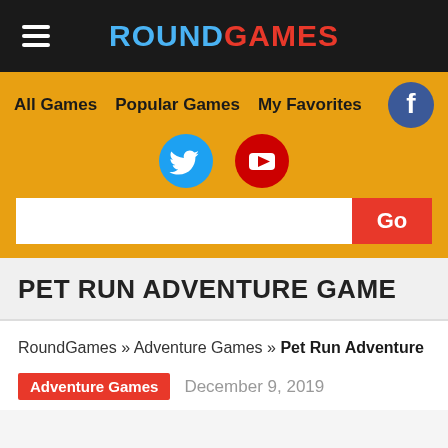ROUNDGAMES
All Games   Popular Games   My Favorites
PET RUN ADVENTURE GAME
RoundGames » Adventure Games » Pet Run Adventure
Adventure Games   December 9, 2019